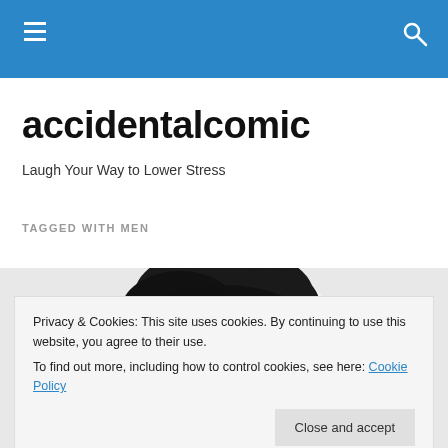accidentalcomic — navigation header bar
accidentalcomic
Laugh Your Way to Lower Stress
TAGGED WITH MEN
[Figure (photo): Black and white photograph showing the top of a person's head with dark hair, partially cropped]
Privacy & Cookies: This site uses cookies. By continuing to use this website, you agree to their use.
To find out more, including how to control cookies, see here: Cookie Policy
Close and accept